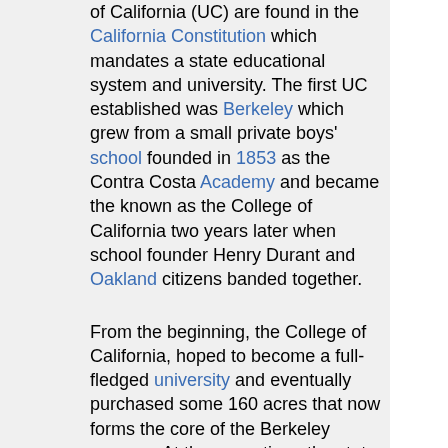of California (UC) are found in the California Constitution which mandates a state educational system and university. The first UC established was Berkeley which grew from a small private boys' school founded in 1853 as the Contra Costa Academy and became the known as the College of California two years later when school founder Henry Durant and Oakland citizens banded together.
From the beginning, the College of California, hoped to become a full-fledged university and eventually purchased some 160 acres that now forms the core of the Berkeley campus. At the same time, the state was pressing